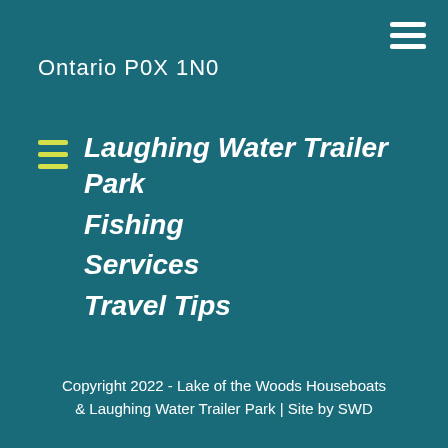Ontario P0X 1N0
Laughing Water Trailer Park
Fishing
Services
Travel Tips
Copyright 2022 - Lake of the Woods Houseboats & Laughing Water Trailer Park | Site by SWD